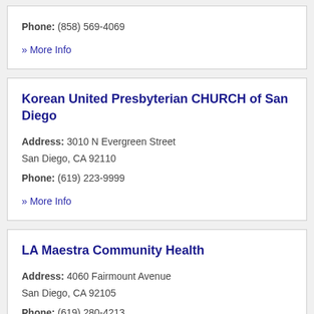Phone: (858) 569-4069
» More Info
Korean United Presbyterian CHURCH of San Diego
Address: 3010 N Evergreen Street San Diego, CA 92110
Phone: (619) 223-9999
» More Info
LA Maestra Community Health
Address: 4060 Fairmount Avenue San Diego, CA 92105
Phone: (619) 280-4213